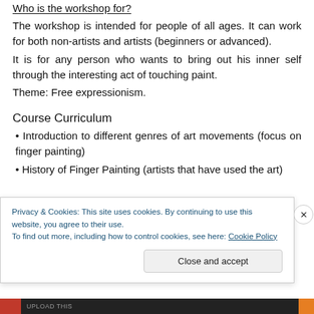Who is the workshop for?
The workshop is intended for people of all ages. It can work for both non-artists and artists (beginners or advanced).
It is for any person who wants to bring out his inner self through the interesting act of touching paint.
Theme: Free expressionism.
Course Curriculum
Introduction to different genres of art movements (focus on finger painting)
History of Finger Painting (artists that have used the art)
Privacy & Cookies: This site uses cookies. By continuing to use this website, you agree to their use.
To find out more, including how to control cookies, see here: Cookie Policy